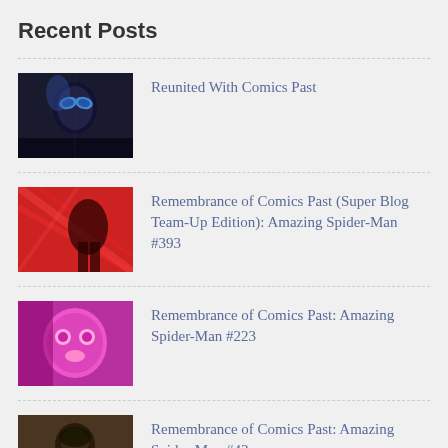Recent Posts
Reunited With Comics Past
Remembrance of Comics Past (Super Blog Team-Up Edition): Amazing Spider-Man #393
Remembrance of Comics Past: Amazing Spider-Man #223
Remembrance of Comics Past: Amazing Spider-Man #43
Remembrance of Comics Past: Amazing Spider-Man #225